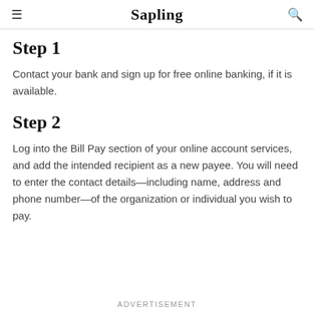Sapling
Step 1
Contact your bank and sign up for free online banking, if it is available.
Step 2
Log into the Bill Pay section of your online account services, and add the intended recipient as a new payee. You will need to enter the contact details—including name, address and phone number—of the organization or individual you wish to pay.
Advertisement